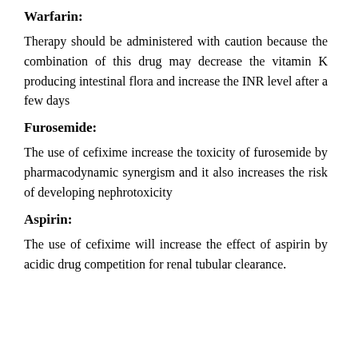Warfarin:
Therapy should be administered with caution because the combination of this drug may decrease the vitamin K producing intestinal flora and increase the INR level after a few days
Furosemide:
The use of cefixime increase the toxicity of furosemide by pharmacodynamic synergism and it also increases the risk of developing nephrotoxicity
Aspirin:
The use of cefixime will increase the effect of aspirin by acidic drug competition for renal tubular clearance.